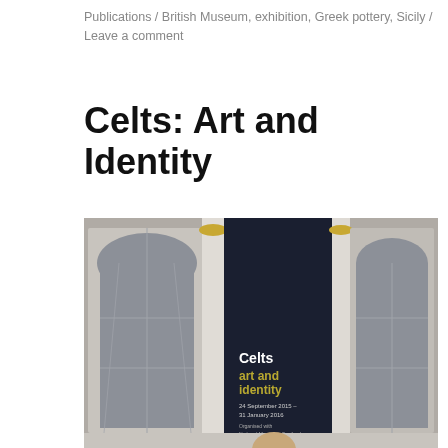Publications / British Museum, exhibition, Greek pottery, Sicily / Leave a comment
Celts: Art and Identity
[Figure (photo): Photograph of the British Museum exterior showing a large dark banner reading 'Celts art and identity, 24 September 2015 – 31 January 2016, Organised with National Museums Scotland' hanging between classical columns and arched windows.]